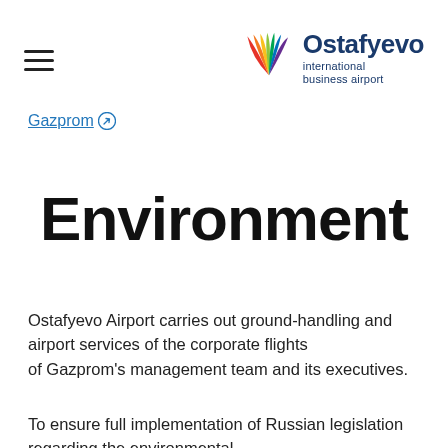[Figure (logo): Ostafyevo International Business Airport logo with colorful wing/feather graphic and blue text]
Gazprom ↗
Environment
Ostafyevo Airport carries out ground-handling and airport services of the corporate flights of Gazprom's management team and its executives.
To ensure full implementation of Russian legislation regarding the environmental